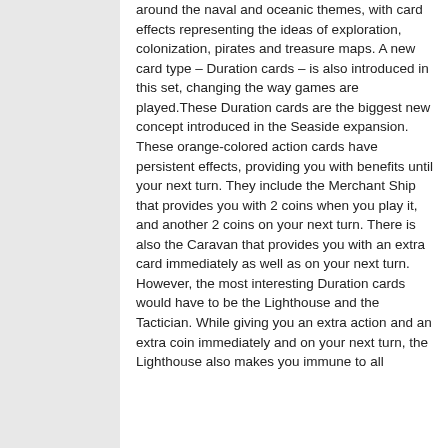around the naval and oceanic themes, with card effects representing the ideas of exploration, colonization, pirates and treasure maps. A new card type – Duration cards – is also introduced in this set, changing the way games are played.These Duration cards are the biggest new concept introduced in the Seaside expansion. These orange-colored action cards have persistent effects, providing you with benefits until your next turn. They include the Merchant Ship that provides you with 2 coins when you play it, and another 2 coins on your next turn. There is also the Caravan that provides you with an extra card immediately as well as on your next turn. However, the most interesting Duration cards would have to be the Lighthouse and the Tactician. While giving you an extra action and an extra coin immediately and on your next turn, the Lighthouse also makes you immune to all